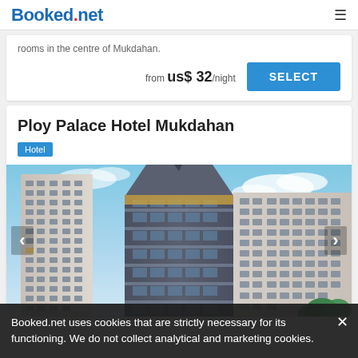Booked.net
rooms in the centre of Mukdahan.
from us$ 32/night
Ploy Palace Hotel Mukdahan
Hotel
[Figure (photo): Exterior photo of Ploy Palace Hotel Mukdahan, a tall multi-story building with blue sky and clouds in the background. Navigation arrows on left and right sides.]
Booked.net uses cookies that are strictly necessary for its functioning. We do not collect analytical and marketing cookies.